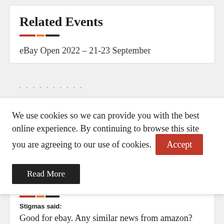Related Events
eBay Open 2022 – 21-23 September
We use cookies so we can provide you with the best online experience. By continuing to browse this site you are agreeing to our use of cookies.
Accept
Read More
Stigmas said:
Good for ebay. Any similar news from amazon? (He asked doubtfully)
Posted on: 22nd Aug 2022 · in response to: eBay extend seller protections for Royal...